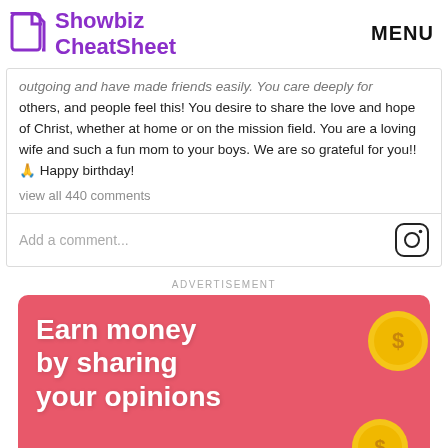Showbiz CheatSheet | MENU
outgoing and have made friends easily. You care deeply for others, and people feel this! You desire to share the love and hope of Christ, whether at home or on the mission field. You are a loving wife and such a fun mom to your boys. We are so grateful for you!! 🙏 Happy birthday!
view all 440 comments
Add a comment...
ADVERTISEMENT
[Figure (illustration): Pink advertisement banner with bold white text reading 'Earn money by sharing your opinions' and gold coin graphics on the right side.]